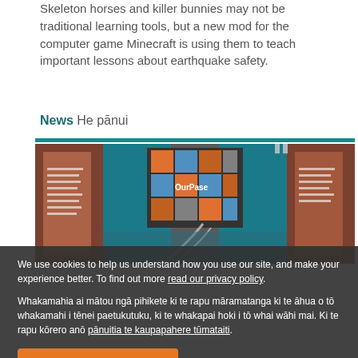Skeleton horses and killer bunnies may not be traditional learning tools, but a new mod for the computer game Minecraft is using them to teach important lessons about earthquake safety.
News He pānui
[Figure (photo): Interior of a museum exhibition hall with teal walls, orange and grey geometric panels, a screen display in the center, and exhibit panels on the sides, with a staircase railing visible in the foreground.]
We use cookies to help us understand how you use our site, and make your experience better. To find out more read our privacy policy.
Whakamahia ai mātou ngā pihikete ki te rapu māramatanga ki te āhua o tō whakamahi i tēnei paetukutuku, ki te whakapai hoki i tō whai wāhi mai. Ki te rapu kōrero anō pānuitia te kaupapahere tūmataiti.
Accept | Whakaaetia